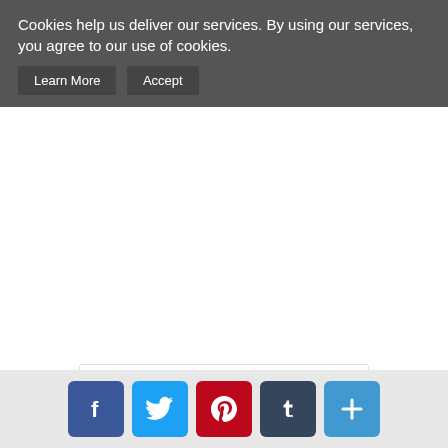Cookies help us deliver our services. By using our services, you agree to our use of cookies.
Learn More   Accept
Chai's Choice Best Front Range Dog Harne...
from $23.95
View
Add to Cart
[Figure (other): Social media sharing icons: Facebook, Twitter, Pinterest, Tumblr, and a plus/share button]